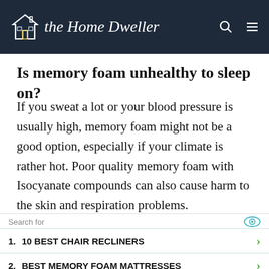The Home Dweller
Is memory foam unhealthy to sleep on?
If you sweat a lot or your blood pressure is usually high, memory foam might not be a good option, especially if your climate is rather hot. Poor quality memory foam with Isocyanate compounds can also cause harm to the skin and respiration problems.
[Figure (other): Yahoo Search sponsored ad block with search results: 1. 10 BEST CHAIR RECLINERS, 2. BEST MEMORY FOAM MATTRESSES]